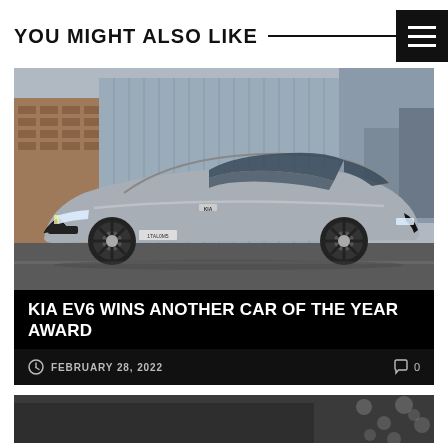YOU MIGHT ALSO LIKE
[Figure (photo): Silver Kia EV6 electric car parked in an urban setting with a brick wall and concrete building in the background]
KIA EV6 WINS ANOTHER CAR OF THE YEAR AWARD
FEBRUARY 28, 2022   0
[Figure (photo): Partial view of a second article image at the bottom of the page]